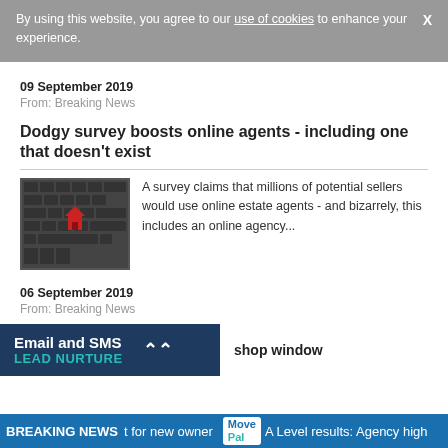By using this website, you agree to our use of cookies to enhance your experience.
09 September 2019
From: Breaking News
Dodgy survey boosts online agents - including one that doesn't exist
[Figure (photo): Photo of a red house figurine on a computer keyboard]
A survey claims that millions of potential sellers would use online estate agents - and bizarrely, this includes an online agency...
06 September 2019
From: Breaking News
Email and SMS LEAD NURTURE
shop window
BREAKING NEWS t for new owner A Level results: Agency high